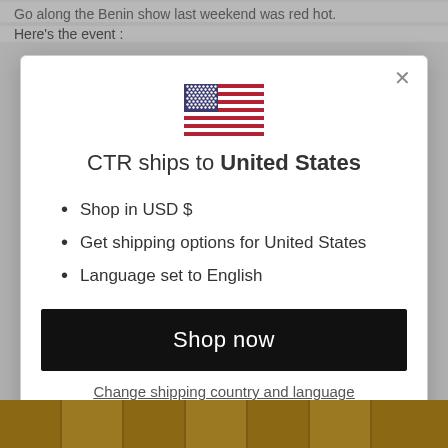Go along the Benin show last weekend was red hot.
Here's the event :
[Figure (illustration): US flag SVG illustration centered in modal dialog]
CTR ships to United States
Shop in USD $
Get shipping options for United States
Language set to English
Shop now
Change shipping country and language